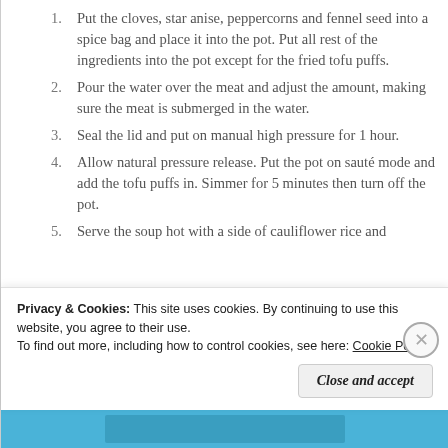Put the cloves, star anise, peppercorns and fennel seed into a spice bag and place it into the pot. Put all rest of the ingredients into the pot except for the fried tofu puffs.
Pour the water over the meat and adjust the amount, making sure the meat is submerged in the water.
Seal the lid and put on manual high pressure for 1 hour.
Allow natural pressure release. Put the pot on sauté mode and add the tofu puffs in. Simmer for 5 minutes then turn off the pot.
Serve the soup hot with a side of cauliflower rice and
Privacy & Cookies: This site uses cookies. By continuing to use this website, you agree to their use.
To find out more, including how to control cookies, see here: Cookie Policy
Close and accept